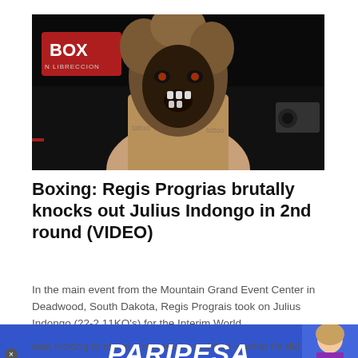[Figure (photo): A boxer wearing a monstrous wolf/creature mask and costume with tattoos on his chest, standing in a boxing ring with a BOX sign in the background and a camera visible on the right.]
Boxing: Regis Progrias brutally knocks out Julius Indongo in 2nd round (VIDEO)
In the main event from the Mountain Grand Event Center in Deadwood, South Dakota, Regis Prograis took on Julius Indongo (22-2,11KO's) for the Interim World
[Figure (other): PARIPESA advertisement banner in blue with white italic bold text and a woman image on the right side.]
was looking to make a statement and that is what he did ...